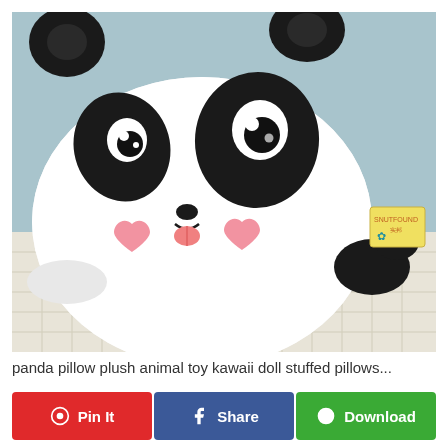[Figure (photo): A kawaii panda plush stuffed animal toy lying on a checkered pillow/blanket against a light blue background. The panda has large black eye patches, white eyes with gray highlights, rosy pink heart-shaped cheeks, a small black nose, and a pink tongue sticking out. It has black ears and black legs/paws visible on the right side. A small product tag is visible at the back right.]
panda pillow plush animal toy kawaii doll stuffed pillows...
Pin It | Share | Download